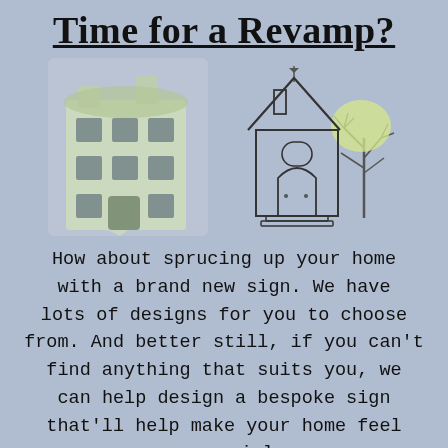Time for a Revamp?
[Figure (illustration): Two house illustrations side by side: left is a blurred/soft green multi-storey townhouse; right is a line-drawn cottage with a chimney, arched door, window, and a bare tree with yellow-green foliage beside it.]
How about sprucing up your home with a brand new sign. We have lots of designs for you to choose from. And better still, if you can't find anything that suits you, we can help design a bespoke sign that'll help make your home feel so special.